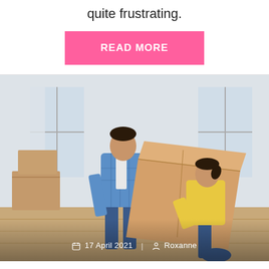quite frustrating.
READ MORE
[Figure (photo): A man in a blue plaid shirt and a woman in a yellow top moving a large cardboard box together in a bright room with other boxes in the background. Date overlay: 17 April 2021 | Roxanne]